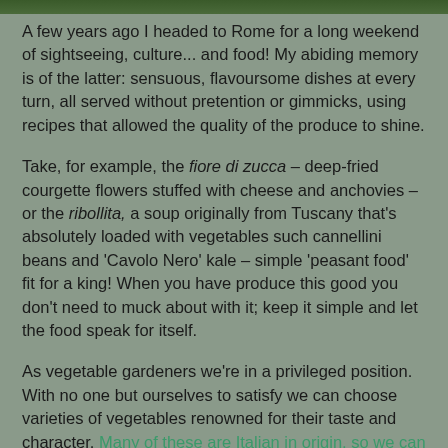[Figure (photo): Green foliage image strip at the top of the page]
A few years ago I headed to Rome for a long weekend of sightseeing, culture... and food! My abiding memory is of the latter: sensuous, flavoursome dishes at every turn, all served without pretention or gimmicks, using recipes that allowed the quality of the produce to shine.
Take, for example, the fiore di zucca – deep-fried courgette flowers stuffed with cheese and anchovies – or the ribollita, a soup originally from Tuscany that's absolutely loaded with vegetables such cannellini beans and 'Cavolo Nero' kale – simple 'peasant food' fit for a king! When you have produce this good you don't need to muck about with it; keep it simple and let the food speak for itself.
As vegetable gardeners we're in a privileged position. With no one but ourselves to satisfy we can choose varieties of vegetables renowned for their taste and character. Many of these are Italian in origin, so we can all bring a little Italian